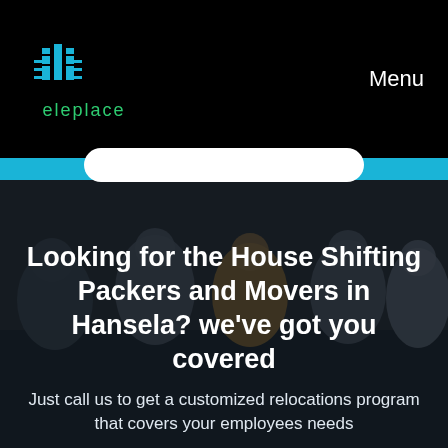eleplace  Menu
[Figure (logo): Eleplace logo with teal building/bar chart icon and green text 'eleplace']
[Figure (photo): Dark-toned photo of five people sitting around a table looking at documents, with overlay text]
Looking for the House Shifting Packers and Movers in Hansela? we've got you covered
Just call us to get a customized relocations program that covers your employees needs